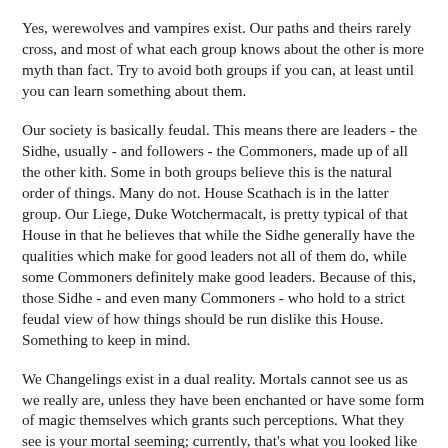Yes, werewolves and vampires exist. Our paths and theirs rarely cross, and most of what each group knows about the other is more myth than fact. Try to avoid both groups if you can, at least until you can learn something about them.
Our society is basically feudal. This means there are leaders - the Sidhe, usually - and followers - the Commoners, made up of all the other kith. Some in both groups believe this is the natural order of things. Many do not. House Scathach is in the latter group. Our Liege, Duke Wotchermacalt, is pretty typical of that House in that he believes that while the Sidhe generally have the qualities which make for good leaders not all of them do, while some Commoners definitely make good leaders. Because of this, those Sidhe - and even many Commoners - who hold to a strict feudal view of how things should be run dislike this House. Something to keep in mind.
We Changelings exist in a dual reality. Mortals cannot see us as we really are, unless they have been enchanted or have some form of magic themselves which grants such perceptions. What they see is your mortal seeming; currently, that's what you looked like to yourself before your Chrysalis. The Chrysalis is the moment of revelation, when your fae nature overcomes the banality of the mortal world and you are reborn into yourself. This reveals your